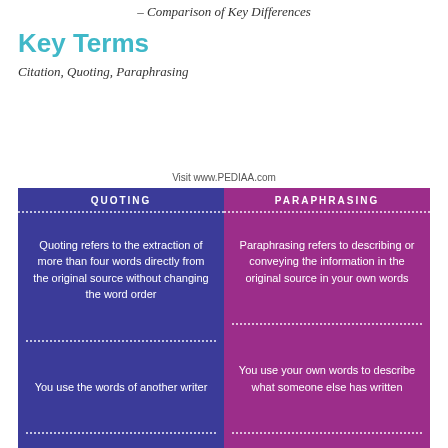– Comparison of Key Differences
Key Terms
Citation, Quoting, Paraphrasing
QUOTING VERSUS PARAPHRASING
Visit www.PEDIAA.com
[Figure (infographic): Two-column comparison infographic. Left column (blue, labeled QUOTING): 'Quoting refers to the extraction of more than four words directly from the original source without changing the word order' and 'You use the words of another writer'. Right column (purple, labeled PARAPHRASING): 'Paraphrasing refers to describing or conveying the information in the original source in your own words' and 'You use your own words to describe what someone else has written'. Columns separated by dashed white lines between sections.]